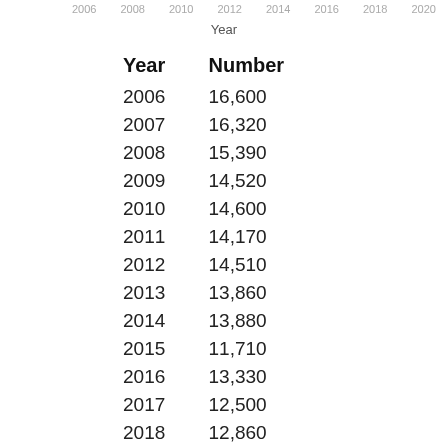[Figure (continuous-plot): Top edge of a line chart showing year axis labels: 2006, 2008, 2010, 2012, 2014, 2016, 2018, 2020]
Year
| Year | Number |
| --- | --- |
| 2006 | 16,600 |
| 2007 | 16,320 |
| 2008 | 15,390 |
| 2009 | 14,520 |
| 2010 | 14,600 |
| 2011 | 14,170 |
| 2012 | 14,510 |
| 2013 | 13,860 |
| 2014 | 13,880 |
| 2015 | 11,710 |
| 2016 | 13,330 |
| 2017 | 12,500 |
| 2018 | 12,860 |
| 2019 | 13,270 |